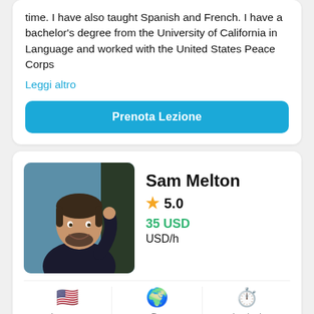time. I have also taught Spanish and French. I have a bachelor's degree from the University of California in Language and worked with the United States Peace Corps
Leggi altro
Prenota Lezione
[Figure (photo): Profile photo of Sam Melton, a middle-aged man with short hair and a beard, smiling, wearing a dark shirt, blue background]
Sam Melton
5.0
35 USD USD/h
Insegna Inglese
Da Regno Unito
Lezioni 4.180